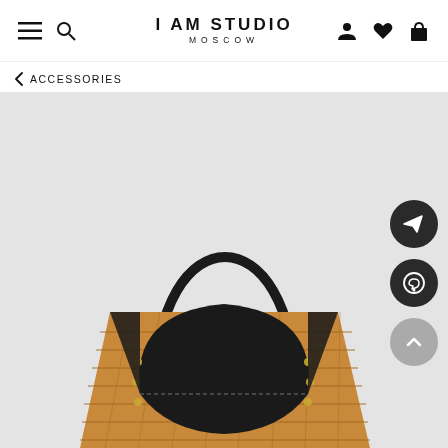I AM STUDIO MOSCOW
< ACCESSORIES
[Figure (photo): Product photo of a handbag with black leather flap and handle, woven rattan/wicker body with gold hardware details, displayed on a light grey background. Social share buttons (Telegram, WhatsApp, scroll-to-top) visible on the right side.]